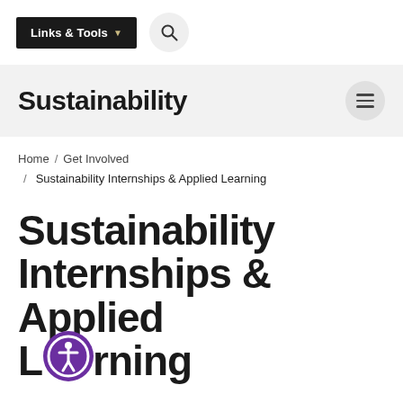Links & Tools  🔍
Sustainability
Home / Get Involved / Sustainability Internships & Applied Learning
Sustainability Internships & Applied Learning